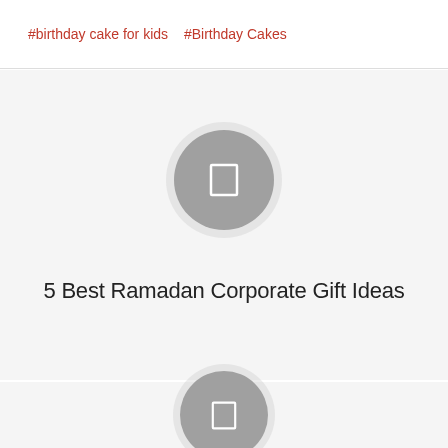#birthday cake for kids  #Birthday Cakes
[Figure (other): Gray circular image placeholder with a rectangle/image icon in the center]
5 Best Ramadan Corporate Gift Ideas
[Figure (other): Gray circular image placeholder with a rectangle/image icon in the center]